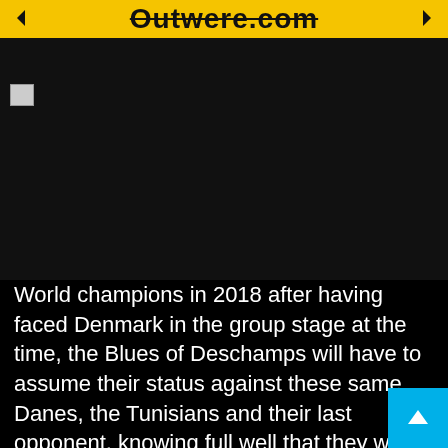Outwere.com
[Figure (photo): Dark/black image area with broken image icon in top left corner]
World champions in 2018 after having faced Denmark in the group stage at the time, the Blues of Deschamps will have to assume their status against these same Danes, the Tunisians and their last opponent, knowing full well that they will be, as in the of the last Euro, the team to beat. In the event of qualification for the round of 16, the Blues will be staying for more stays...